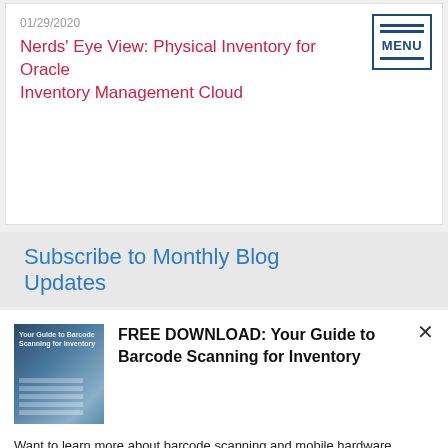01/29/2020
Nerds' Eye View: Physical Inventory for Oracle Inventory Management Cloud
Subscribe to Monthly Blog Updates
FREE DOWNLOAD: Your Guide to Barcode Scanning for Inventory
Want to learn more about barcode scanning and mobile hardware options available to you?
Download Now